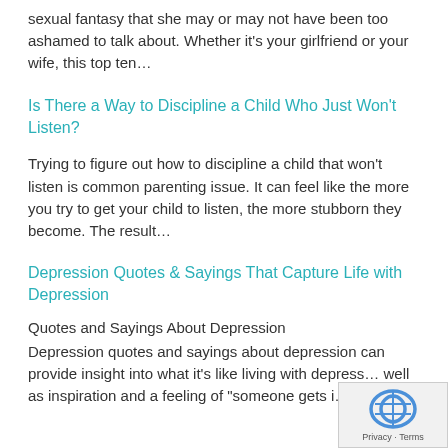sexual fantasy that she may or may not have been too ashamed to talk about. Whether it's your girlfriend or your wife, this top ten…
Is There a Way to Discipline a Child Who Just Won't Listen?
Trying to figure out how to discipline a child that won't listen is common parenting issue. It can feel like the more you try to get your child to listen, the more stubborn they become. The result…
Depression Quotes & Sayings That Capture Life with Depression
Quotes and Sayings About Depression
Depression quotes and sayings about depression can provide insight into what it's like living with depress… well as inspiration and a feeling of "someone gets i…